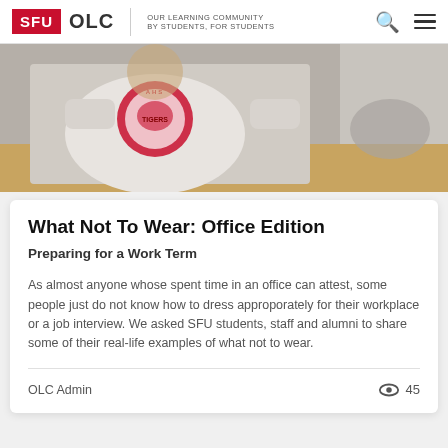SFU OLC | OUR LEARNING COMMUNITY BY STUDENTS, FOR STUDENTS
[Figure (photo): A student wearing a tiger-logo sweatshirt seated at a table in what appears to be an office or classroom setting.]
What Not To Wear: Office Edition
Preparing for a Work Term
As almost anyone whose spent time in an office can attest, some people just do not know how to dress approporately for their workplace or a job interview. We asked SFU students, staff and alumni to share some of their real-life examples of what not to wear.
OLC Admin
45